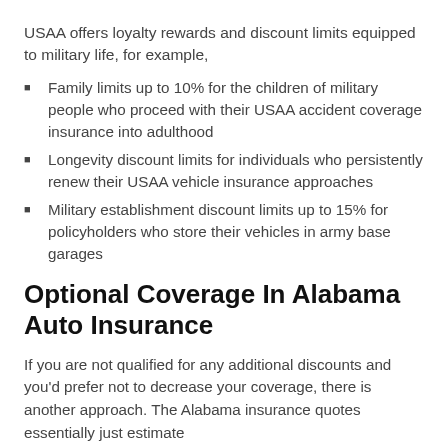USAA offers loyalty rewards and discount limits equipped to military life, for example,
Family limits up to 10% for the children of military people who proceed with their USAA accident coverage insurance into adulthood
Longevity discount limits for individuals who persistently renew their USAA vehicle insurance approaches
Military establishment discount limits up to 15% for policyholders who store their vehicles in army base garages
Optional Coverage In Alabama Auto Insurance
If you are not qualified for any additional discounts and you'd prefer not to decrease your coverage, there is another approach. The Alabama insurance quotes essentially just estimate